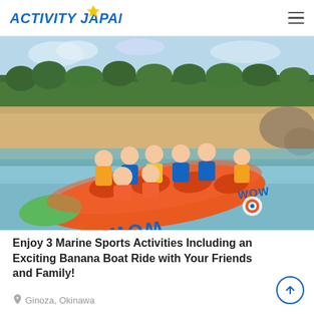ACTIVITY JAPAN
[Figure (photo): Group of people sitting on a large orange WOW brand inflatable banana boat on a beach shore in Okinawa, wearing life jackets and smiling at the camera. Background shows sandy beach and trees.]
Enjoy 3 Marine Sports Activities Including an Exciting Banana Boat Ride with Your Friends and Family!
Ginoza, Okinawa